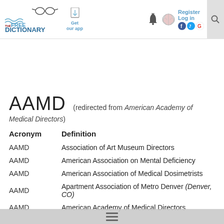[Figure (logo): The Free Dictionary by Farlex logo with glasses icon]
AAMD (redirected from American Academy of Medical Directors)
| Acronym | Definition |
| --- | --- |
| AAMD | Association of Art Museum Directors |
| AAMD | American Association on Mental Deficiency |
| AAMD | American Association of Medical Dosimetrists |
| AAMD | Apartment Association of Metro Denver (Denver, CO) |
| AAMD | American Academy of Medical Directors |